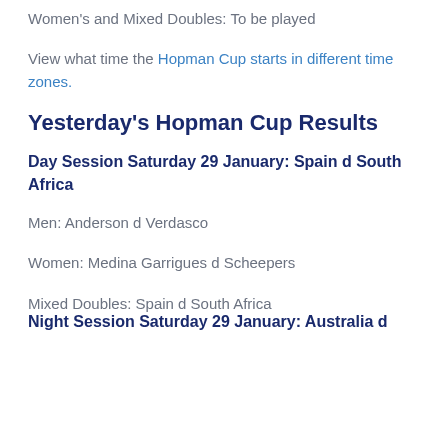Women's and Mixed Doubles: To be played
View what time the Hopman Cup starts in different time zones.
Yesterday's Hopman Cup Results
Day Session Saturday 29 January: Spain d South Africa
Men: Anderson d Verdasco
Women: Medina Garrigues d Scheepers
Mixed Doubles: Spain d South Africa
Night Session Saturday 29 January: Australia d...